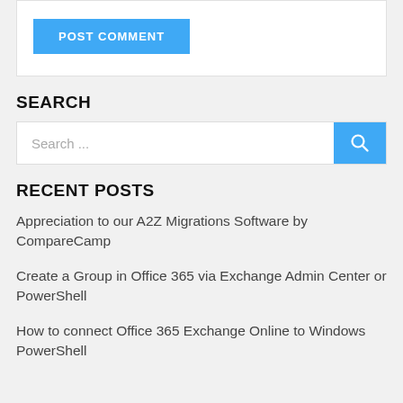[Figure (screenshot): POST COMMENT button — blue rectangle with white uppercase text]
SEARCH
[Figure (screenshot): Search bar with placeholder text 'Search ...' and a blue search button with magnifying glass icon]
RECENT POSTS
Appreciation to our A2Z Migrations Software by CompareCamp
Create a Group in Office 365 via Exchange Admin Center or PowerShell
How to connect Office 365 Exchange Online to Windows PowerShell